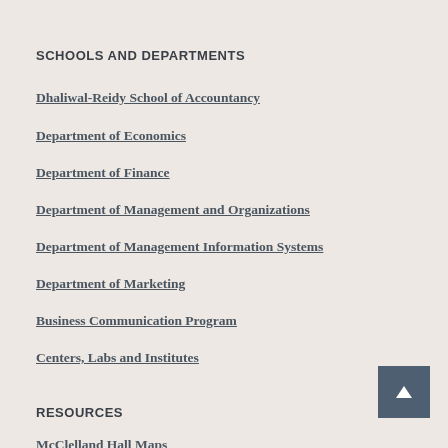SCHOOLS AND DEPARTMENTS
Dhaliwal-Reidy School of Accountancy
Department of Economics
Department of Finance
Department of Management and Organizations
Department of Management Information Systems
Department of Marketing
Business Communication Program
Centers, Labs and Institutes
RESOURCES
McClelland Hall Maps